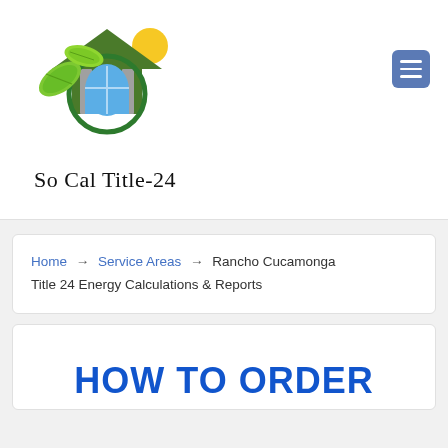[Figure (logo): So Cal Title-24 logo: green house with leaf and sun icons, circular green design with window]
So Cal Title-24
Home → Service Areas → Rancho Cucamonga Title 24 Energy Calculations & Reports
HOW TO ORDER